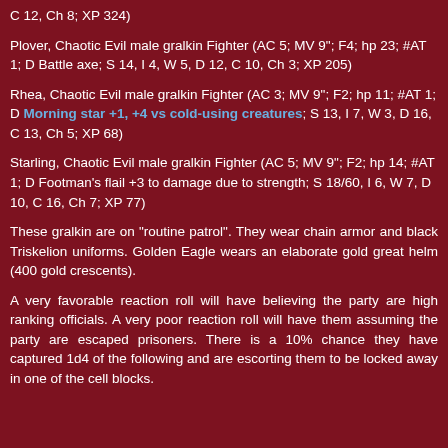C 12, Ch 8; XP 324)
Plover, Chaotic Evil male gralkin Fighter (AC 5; MV 9"; F4; hp 23; #AT 1; D Battle axe; S 14, I 4, W 5, D 12, C 10, Ch 3; XP 205)
Rhea, Chaotic Evil male gralkin Fighter (AC 3; MV 9"; F2; hp 11; #AT 1; D Morning star +1, +4 vs cold-using creatures; S 13, I 7, W 3, D 16, C 13, Ch 5; XP 68)
Starling, Chaotic Evil male gralkin Fighter (AC 5; MV 9"; F2; hp 14; #AT 1; D Footman's flail +3 to damage due to strength; S 18/60, I 6, W 7, D 10, C 16, Ch 7; XP 77)
These gralkin are on “routine patrol”. They wear chain armor and black Triskelion uniforms. Golden Eagle wears an elaborate gold great helm (400 gold crescents).
A very favorable reaction roll will have believing the party are high ranking officials. A very poor reaction roll will have them assuming the party are escaped prisoners. There is a 10% chance they have captured 1d4 of the following and are escorting them to be locked away in one of the cell blocks.